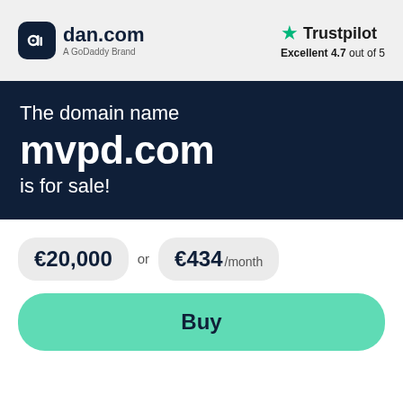[Figure (logo): dan.com logo with dark rounded square icon and text 'dan.com' with subtitle 'A GoDaddy Brand']
[Figure (logo): Trustpilot logo with green star, text 'Trustpilot', and rating 'Excellent 4.7 out of 5']
The domain name mvpd.com is for sale!
€20,000 or €434 /month
Buy